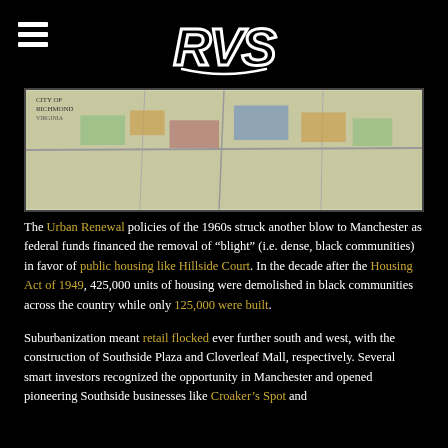RVS (logo)
[Figure (map): City of Richmond urban planning map showing colored land use zones including residential, commercial, and community areas in Manchester neighborhood area.]
The Urban Renewal policies of the 1960s struck another blow to Manchester as federal funds financed the removal of “blight” (i.e. dense, black communities) in favor of public housing like Hillside Court. In the decade after the Housing Act of 1949, 425,000 units of housing were demolished in black communities across the country while only 125,000 were built.
Suburbanization meant retail flocked ever further south and west, with the construction of Southside Plaza and Cloverleaf Mall, respectively. Several smart investors recognized the opportunity in Manchester and opened pioneering Southside businesses like Croaker’s Spot and